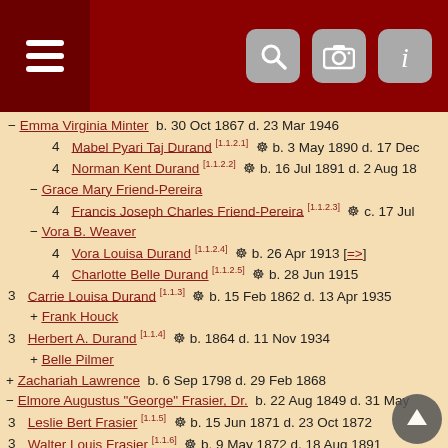Navigation header with menu and search/camera/info icons
− Emma Virginia Minter b. 30 Oct 1867 d. 23 Mar 1946
4 Mabel Pyari Taj Durand [1.1.2.1] ⚇ b. 3 May 1890 d. 17 Dec
4 Norman Kent Durand [1.1.2.2] ⚇ b. 16 Jul 1891 d. 2 Aug 18
− Grace Mary Friend-Pereira
4 Francis Joseph Charles Friend-Pereira [1.1.2.3] ⚇ c. 17 Jul
− Vora B. Weaver
4 Vora Louisa Durand [1.1.2.4] ⚇ b. 26 Apr 1913 [=>]
4 Charlotte Belle Durand [1.1.2.5] ⚇ b. 28 Jun 1915
3 Carrie Louisa Durand [1.1.3] ⚇ b. 15 Feb 1862 d. 13 Apr 1935
+ Frank Houck
3 Herbert A. Durand [1.1.4] ⚇ b. 1864 d. 11 Nov 1934
+ Belle Pilmer
+ Zachariah Lawrence b. 6 Sep 1798 d. 29 Feb 1868
− Elmore Augustus "George" Frasier, Dr. b. 22 Aug 1849 d. 31 May
3 Leslie Bert Frasier [1.1.5] ⚇ b. 15 Jun 1871 d. 23 Oct 1872
3 Walter Louis Frasier [1.1.6] ⚇ b. 9 May 1872 d. 18 Aug 1891
3 Lillie May Frasier [1.1.7] ⚇ b. 15 Dec 1874 d. 15 Feb 1875
3 Howard Elmore Frasier [1.1.8] ⚇ b. 6 Dec 1876 d. 7 Jun 1886
3 Nettie May Frasier [1.1.9] ⚇ b. 5 Jul 1879 d. 16 May 1966
− Frank Parker